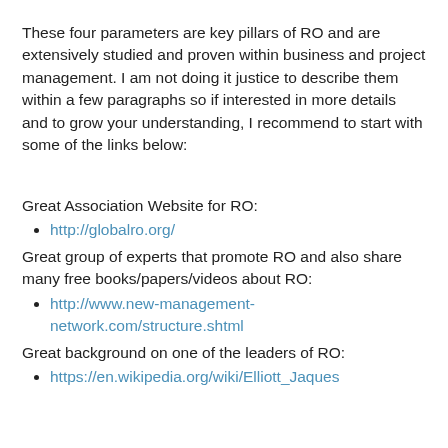These four parameters are key pillars of RO and are extensively studied and proven within business and project management. I am not doing it justice to describe them within a few paragraphs so if interested in more details and to grow your understanding, I recommend to start with some of the links below:
Great Association Website for RO:
http://globalro.org/
Great group of experts that promote RO and also share many free books/papers/videos about RO:
http://www.new-management-network.com/structure.shtml
Great background on one of the leaders of RO:
https://en.wikipedia.org/wiki/Elliott_Jaques